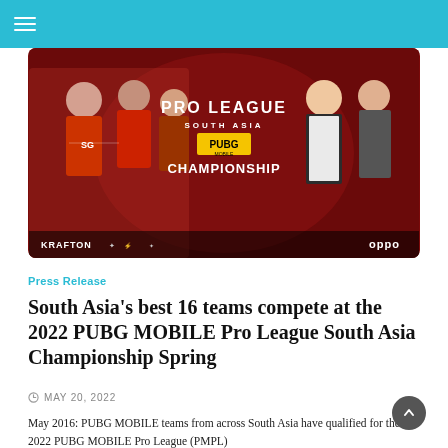Navigation menu
[Figure (photo): PUBG MOBILE Pro League South Asia Championship promotional banner featuring players in red jerseys on the left, text 'PRO LEAGUE SOUTH ASIA PUBG MOBILE CHAMPIONSHIP' in the center, and two hosts on the right. Sponsors KRAFTON and OPPO shown at the bottom.]
Press Release
South Asia's best 16 teams compete at the 2022 PUBG MOBILE Pro League South Asia Championship Spring
MAY 20, 2022
May 2016: PUBG MOBILE teams from across South Asia have qualified for the 2022 PUBG MOBILE Pro League (PMPL)